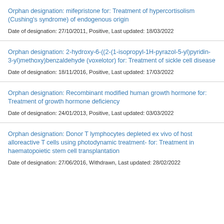Orphan designation: mifepristone for: Treatment of hypercortisolism (Cushing's syndrome) of endogenous origin
Date of designation: 27/10/2011, Positive, Last updated: 18/03/2022
Orphan designation: 2-hydroxy-6-((2-(1-isopropyl-1H-pyrazol-5-yl)pyridin-3-yl)methoxy)benzaldehyde (voxelotor) for: Treatment of sickle cell disease
Date of designation: 18/11/2016, Positive, Last updated: 17/03/2022
Orphan designation: Recombinant modified human growth hormone for: Treatment of growth hormone deficiency
Date of designation: 24/01/2013, Positive, Last updated: 03/03/2022
Orphan designation: Donor T lymphocytes depleted ex vivo of host alloreactive T cells using photodynamic treatment- for: Treatment in haematopoietic stem cell transplantation
Date of designation: 27/06/2016, Withdrawn, Last updated: 28/02/2022